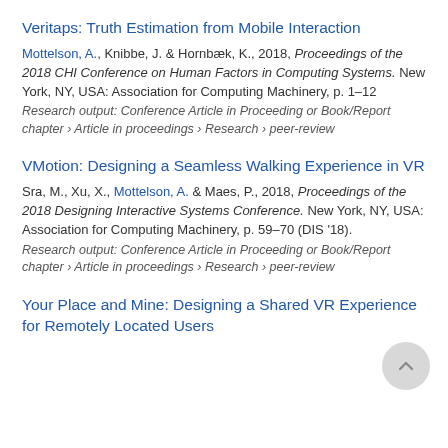Veritaps: Truth Estimation from Mobile Interaction
Mottelson, A., Knibbe, J. & Hornbæk, K., 2018, Proceedings of the 2018 CHI Conference on Human Factors in Computing Systems. New York, NY, USA: Association for Computing Machinery, p. 1–12
Research output: Conference Article in Proceeding or Book/Report chapter › Article in proceedings › Research › peer-review
VMotion: Designing a Seamless Walking Experience in VR
Sra, M., Xu, X., Mottelson, A. & Maes, P., 2018, Proceedings of the 2018 Designing Interactive Systems Conference. New York, NY, USA: Association for Computing Machinery, p. 59–70 (DIS '18).
Research output: Conference Article in Proceeding or Book/Report chapter › Article in proceedings › Research › peer-review
Your Place and Mine: Designing a Shared VR Experience for Remotely Located Users